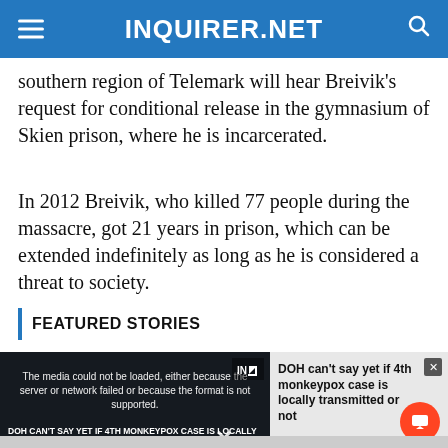INQUIRER.NET
southern region of Telemark will hear Breivik's request for conditional release in the gymnasium of Skien prison, where he is incarcerated.
In 2012 Breivik, who killed 77 people during the massacre, got 21 years in prison, which can be extended indefinitely as long as he is considered a threat to society.
FEATURED STORIES
[Figure (screenshot): Media player overlay with error message: 'The media could not be loaded, either because the server or network failed or because the format is not supported.' Below shows a dark thumbnail with text 'DOH CAN'T SAY YET IF 4TH MONKEYPOX CASE IS LOCALLY TRANSMITTED OR NOT' and a sidebar with text 'DOH can't say yet if 4th monkeypox case is locally transmitted or not']